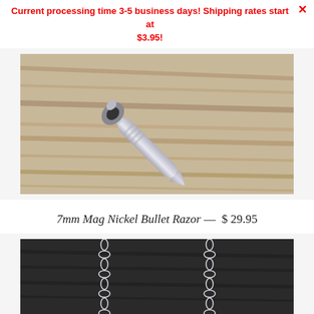Current processing time 3-5 business days! Shipping rates start at $3.95!
[Figure (photo): Photo of a silver bullet-shaped razor handle with ratchet mechanism on a wood surface]
7mm Mag Nickel Bullet Razor — $ 29.95
[Figure (photo): Photo of silver chains against a dark background]